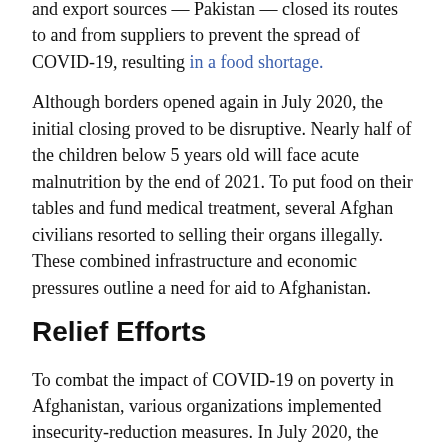and export sources — Pakistan — closed its routes to and from suppliers to prevent the spread of COVID-19, resulting in a food shortage.
Although borders opened again in July 2020, the initial closing proved to be disruptive. Nearly half of the children below 5 years old will face acute malnutrition by the end of 2021. To put food on their tables and fund medical treatment, several Afghan civilians resorted to selling their organs illegally. These combined infrastructure and economic pressures outline a need for aid to Afghanistan.
Relief Efforts
To combat the impact of COVID-19 on poverty in Afghanistan, various organizations implemented insecurity-reduction measures. In July 2020, the United States government designated more than $36.7 million to support COVID-19 relief efforts in Afghanistan through USAID. The United States allocated these funds primarily toward refugee assistance, health and disaster assistance and support for the Afghan government. This contribution proved helpful, as Afghanistan's domestic revenues